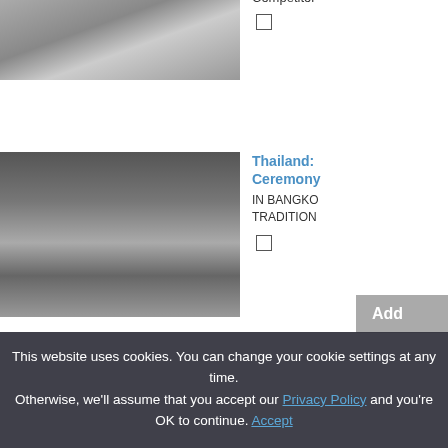[Figure (photo): Grayscale photo of a waterfront or coastal scene, partially cropped at top]
Competitor
[Figure (photo): Grayscale photo of a mountain landscape with trees in foreground]
Thailand: Ceremony
IN BANGKO TRADITION
Add
This website uses cookies. You can change your cookie settings at any time. Otherwise, we'll assume that you accept our Privacy Policy and you're OK to continue. Accept